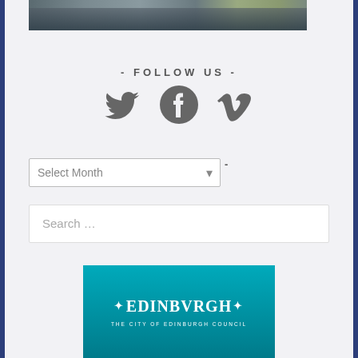[Figure (photo): A group photo of people at an outdoor event, partial view at top of page]
- FOLLOW US -
[Figure (infographic): Social media icons: Twitter bird, Facebook circle logo, and Vimeo 'V' logo in dark grey]
- ARCHIVES -
Select Month (dropdown)
Search …
[Figure (logo): City of Edinburgh Council logo — teal/turquoise background with stylized EDINBVRGH text and subtitle THE CITY OF EDINBURGH COUNCIL]